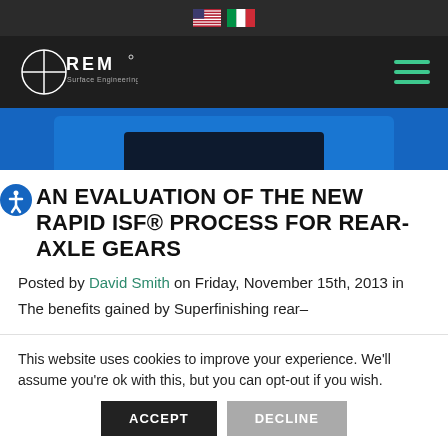[Figure (logo): REM Surface Engineering logo on dark navigation bar with US and Italian flag icons]
[Figure (photo): Blue equipment or gear component image strip]
AN EVALUATION OF THE NEW RAPID ISF® PROCESS FOR REAR-AXLE GEARS
Posted by David Smith on Friday, November 15th, 2013 in
The benefits gained by Superfinishing rear-
This website uses cookies to improve your experience. We'll assume you're ok with this, but you can opt-out if you wish. ACCEPT DECLINE